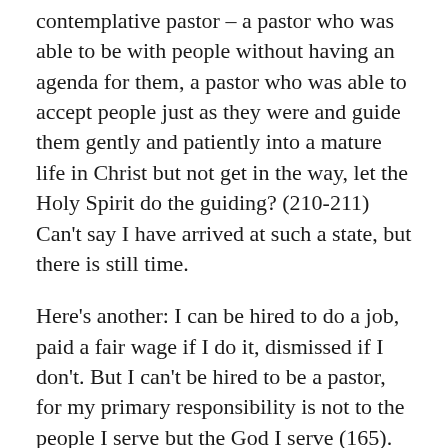contemplative pastor – a pastor who was able to be with people without having an agenda for them, a pastor who was able to accept people just as they were and guide them gently and patiently into a mature life in Christ but not get in the way, let the Holy Spirit do the guiding? (210-211) Can't say I have arrived at such a state, but there is still time.
Here's another: I can be hired to do a job, paid a fair wage if I do it, dismissed if I don't. But I can't be hired to be a pastor, for my primary responsibility is not to the people I serve but the God I serve (165). Sure I believe this but my anxiety over what people think about me may reveal my real convictions.
Still another: Classically, there are three ways in which humans try to find transcendence (religious